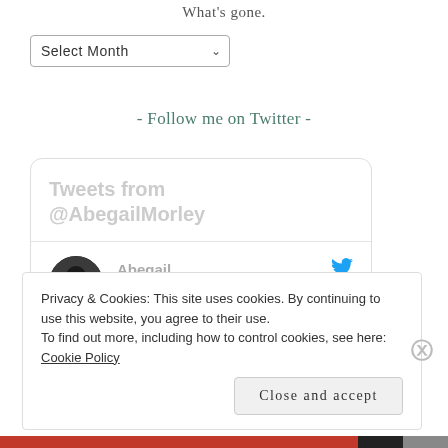What's gone.
[Figure (screenshot): Select Month dropdown widget]
- Follow me on Twitter -
[Figure (screenshot): Twitter widget showing Tweets from @AbegailMorley, with a tweet by Abegail... @... · Jul 26 saying Congratulations!! :)]
Privacy & Cookies: This site uses cookies. By continuing to use this website, you agree to their use.
To find out more, including how to control cookies, see here: Cookie Policy
Close and accept